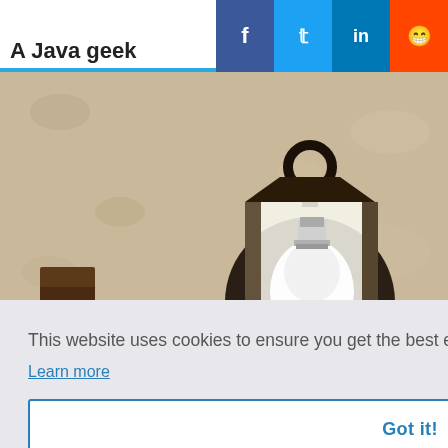A Java geek
[Figure (photo): A wall-mounted black lantern light fixture with a glowing white bulb, mounted on a textured beige stucco wall.]
This website uses cookies to ensure you get the best experience on our website.
Learn more
Got it!
HomeGuarder